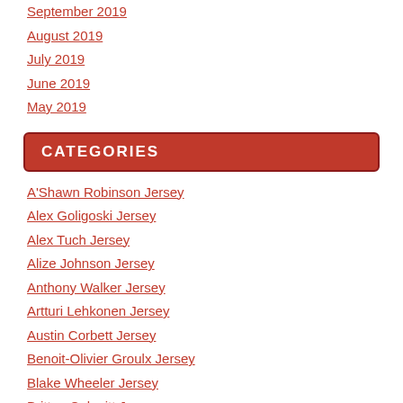September 2019
August 2019
July 2019
June 2019
May 2019
CATEGORIES
A'Shawn Robinson Jersey
Alex Goligoski Jersey
Alex Tuch Jersey
Alize Johnson Jersey
Anthony Walker Jersey
Artturi Lehkonen Jersey
Austin Corbett Jersey
Benoit-Olivier Groulx Jersey
Blake Wheeler Jersey
Britton Colquitt Jersey
Bud Dupree Jersey
C.J. Mosley Jersey
Calais Campbell Jersey